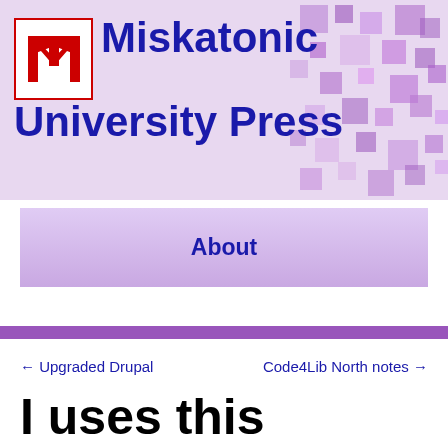[Figure (logo): Miskatonic University Press logo with red block letter M in a red-bordered white box, alongside blue bold text 'Miskatonic University Press' on a lavender pixel mosaic background]
Miskatonic University Press
About
← Upgraded Drupal
Code4Lib North notes →
I uses this